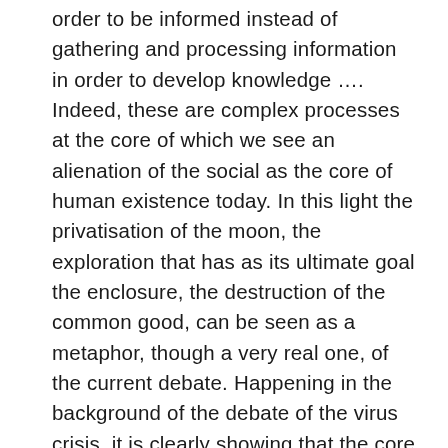order to be informed instead of gathering and processing information in order to develop knowledge …. Indeed, these are complex processes at the core of which we see an alienation of the social as the core of human existence today. In this light the privatisation of the moon, the exploration that has as its ultimate goal the enclosure, the destruction of the common good, can be seen as a metaphor, though a very real one, of the current debate. Happening in the background of the debate of the virus crisis, it is clearly showing that the core of the crisis is about the disruption of the connection between accumulation regime and life regime. This disruption establishes a hiatus that is difficult to overcome. As stated on a different occasion, we face the following dilemma – a cage from which it is difficult to find an escape. It is this constellation of mutual dependencies, that makes an escape nearly impossible. Individual behaviour can hardly be